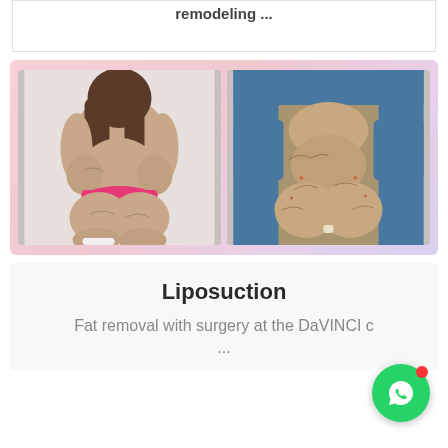remodeling ...
[Figure (photo): Two before/after surgical photos showing patient's back and buttocks area. Left photo shows pre-surgery view of a woman in pink underwear from behind. Right photo shows post-surgery view on operating table with surgical markings.]
Liposuction
Fat removal with surgery at the DaVINCI c...